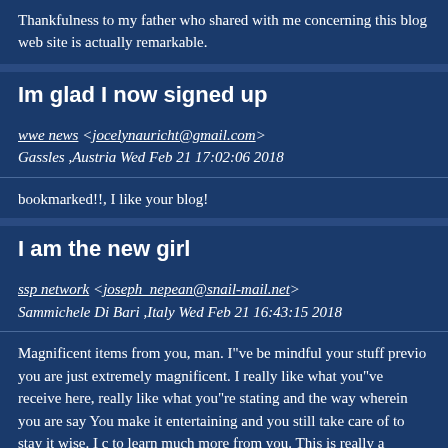Thankfulness to my father who shared with me concerning this blog web site is actually remarkable.
Im glad I now signed up
wwe news <jocelynauricht@gmail.com>
Gassles ,Austria Wed Feb 21 17:02:06 2018
bookmarked!!, I like your blog!
I am the new girl
ssp network <joseph_nepean@snail-mail.net>
Sammichele Di Bari ,Italy Wed Feb 21 16:43:15 2018
Magnificent items from you, man. I"ve be mindful your stuff previo you are just extremely magnificent. I really like what you"ve receive here, really like what you"re stating and the way wherein you are say You make it entertaining and you still take care of to stay it wise. I c to learn much more from you. This is really a wonderful site.